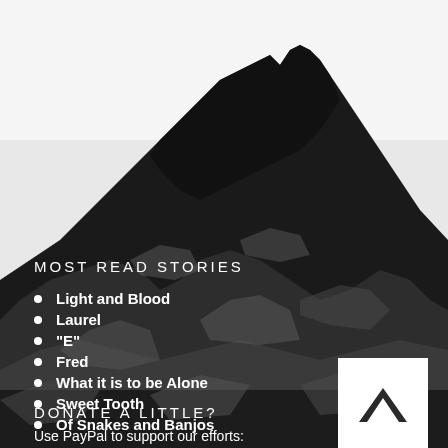[Figure (illustration): Dark dramatic mountain landscape illustration in black and grey tones, covering the entire page background]
MOST READ STORIES
Light and Blood
Laurel
"E"
Fred
What it is to be Alone
Sweet Tooth
Of Snakes and Banjos
[Figure (illustration): White square box containing a dark upward-pointing chevron/arrow icon]
DONATE A LITTLE?
Use PayPal to support our efforts: